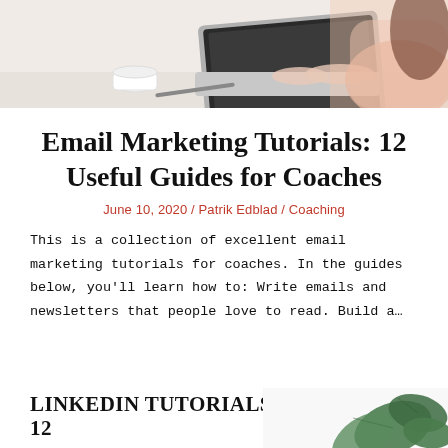[Figure (photo): Woman typing on a laptop at a white desk with a coffee cup, viewed from the side, wearing a light pink top]
Email Marketing Tutorials: 12 Useful Guides for Coaches
June 10, 2020 / Patrik Edblad / Coaching
This is a collection of excellent email marketing tutorials for coaches. In the guides below, you'll learn how to: Write emails and newsletters that people love to read. Build a…
LINKEDIN TUTORIALS: 12
[Figure (photo): Partial view of green leaves/plant on a white background, bottom right corner]